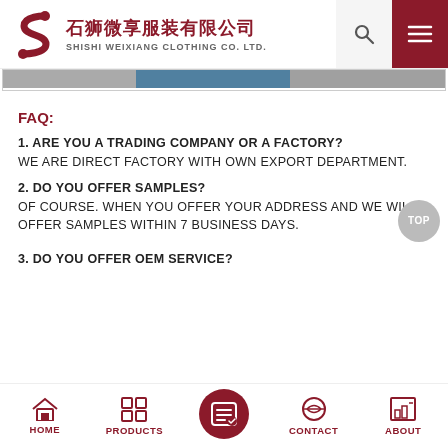石狮微享服装有限公司 SHISHI WEIXIANG CLOTHING CO. LTD.
[Figure (photo): Horizontal image strip showing clothing product photos]
FAQ:
1. ARE YOU A TRADING COMPANY OR A FACTORY?
WE ARE DIRECT FACTORY WITH OWN EXPORT DEPARTMENT.
2. DO YOU OFFER SAMPLES?
OF COURSE. WHEN YOU OFFER YOUR ADDRESS AND WE WILL OFFER SAMPLES WITHIN 7 BUSINESS DAYS.
3. DO YOU OFFER OEM SERVICE?
HOME  PRODUCTS  CONTACT  ABOUT